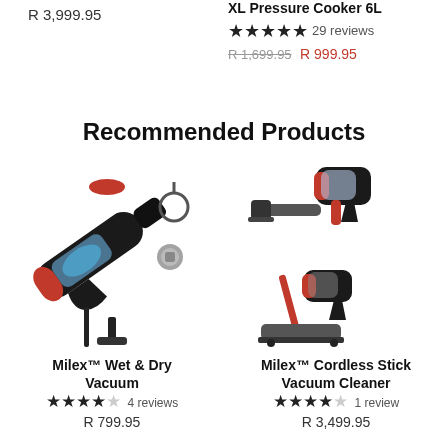R 3,999.95
XL Pressure Cooker 6L
★★★★★ 29 reviews
R 1,699.95  R 999.95
Recommended Products
[Figure (photo): Milex Wet & Dry Vacuum handheld vacuum cleaner with accessories including charging cable, filter, and brush attachments]
Milex™ Wet & Dry Vacuum
★★★★☆ 4 reviews
R 799.95
[Figure (photo): Milex Cordless Stick Vacuum Cleaner shown in two configurations - handheld and stick form]
Milex™ Cordless Stick Vacuum Cleaner
★★★★☆ 1 review
R 3,499.95